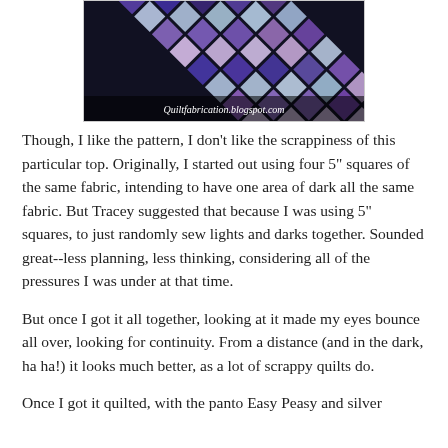[Figure (photo): Photo of a quilt top with diagonal square pattern in purple, blue, and multicolor scrappy fabrics. Watermark reads 'Quiltfabrication.blogspot.com']
Though, I like the pattern, I don't like the scrappiness of this particular top. Originally, I started out using four 5" squares of the same fabric, intending to have one area of dark all the same fabric. But Tracey suggested that because I was using 5" squares, to just randomly sew lights and darks together. Sounded great--less planning, less thinking, considering all of the pressures I was under at that time.
But once I got it all together, looking at it made my eyes bounce all over, looking for continuity. From a distance (and in the dark, ha ha!) it looks much better, as a lot of scrappy quilts do.
Once I got it quilted, with the panto Easy Peasy and silver